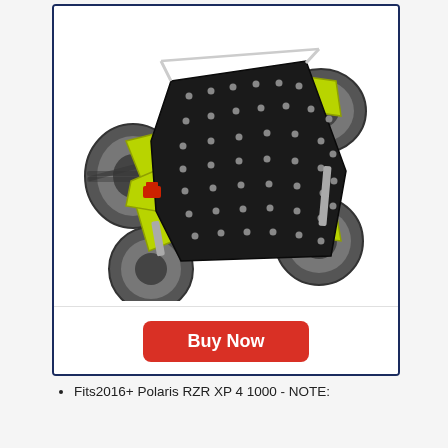[Figure (photo): Overhead bottom view of a Polaris RZR XP 4 1000 UTV with a large black skid plate/chassis protection panel installed. The vehicle has yellow-green frame components and large off-road tires. The skid plate has multiple bolt holes visible.]
Buy Now
​Fits​2016+ Polaris RZR XP 4 1000 - NOTE: